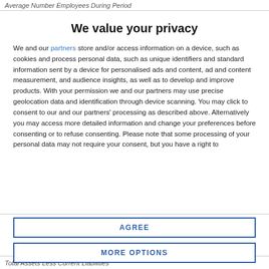Average Number Employees During Period
We value your privacy
We and our partners store and/or access information on a device, such as cookies and process personal data, such as unique identifiers and standard information sent by a device for personalised ads and content, ad and content measurement, and audience insights, as well as to develop and improve products. With your permission we and our partners may use precise geolocation data and identification through device scanning. You may click to consent to our and our partners' processing as described above. Alternatively you may access more detailed information and change your preferences before consenting or to refuse consenting. Please note that some processing of your personal data may not require your consent, but you have a right to
AGREE
MORE OPTIONS
Total Assets Less Current Liabilities